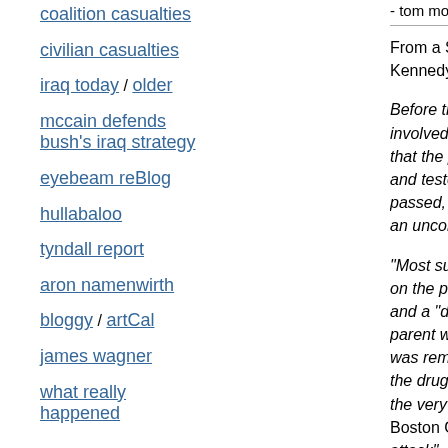- tom moody 4-24-2002 11:58 pm [link] [5 com...
coalition casualties
civilian casualties
iraq today / older
mccain defends bush's iraq strategy
eyebeam reBlog
hullabaloo
tyndall report
aron namenwirth
bloggy / artCal
james wagner
what really happened
From a Salon Premium piece today, a...Kennedy should recuse himself from th...
Before the court was a school district's...involved in any extracurricular activity....that the plaintiff, Lindsay Earls, had ev...and tested -- specifically, ordered to ur...passed, but brought suit against what s...an unconstitutional search.
"Most surprising," said the New York Ti...on the plaintiffs." The justice imagined...and a "druggie school," and told the la...parent would send a child to the drugg...was remarkable in two ways. First, it w...the drug test, and her cause was not d...the very irrationality of Kennedy's rem...Boston Globe described him as red wi...attack" -- betrayed an uncontainable a...from Supreme Court arguments on eve...